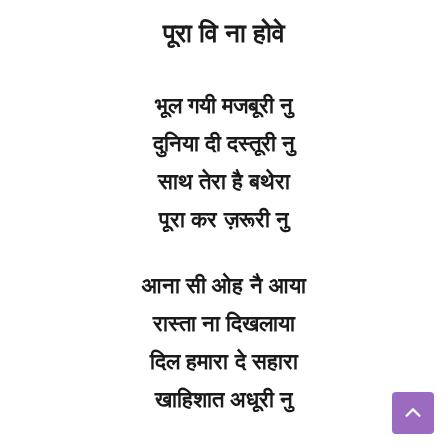पूरा वि ना होवे
भूल गयी मजबूरी नु
दुनिया दी दस्तूरी नु
साथ तेरा है बथेरा
पूरा कर ज़रूरी नु
आना सी ओह नै आया
रास्ता ना दिखलाया
दिल हमारा दे सहारा
खाहिशात अधूरी नु